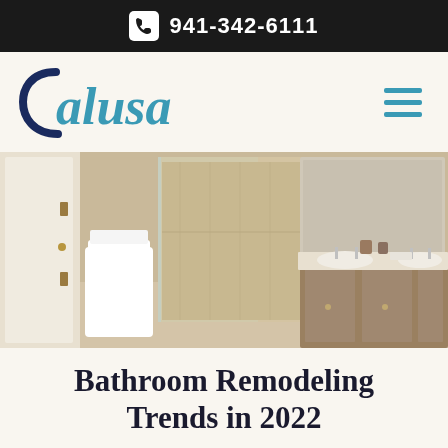941-342-6111
[Figure (logo): Calusa company logo in blue script/serif font with a dark blue C arc]
[Figure (photo): Renovated bathroom interior showing a white toilet, glass-enclosed shower with tile, wooden double vanity cabinet with two sinks and chrome faucets, and a large mirror]
Bathroom Remodeling Trends in 2022